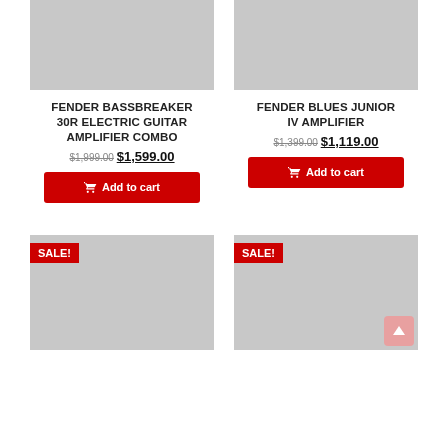[Figure (photo): Product image placeholder (gray rectangle) for Fender Bassbreaker 30R]
[Figure (photo): Product image placeholder (gray rectangle) for Fender Blues Junior IV]
FENDER BASSBREAKER 30R ELECTRIC GUITAR AMPLIFIER COMBO
$1,999.00 $1,599.00
Add to cart
FENDER BLUES JUNIOR IV AMPLIFIER
$1,399.00 $1,119.00
Add to cart
[Figure (photo): Product image placeholder with SALE! badge (gray rectangle) for product 3]
[Figure (photo): Product image placeholder with SALE! badge (gray rectangle) for product 4]